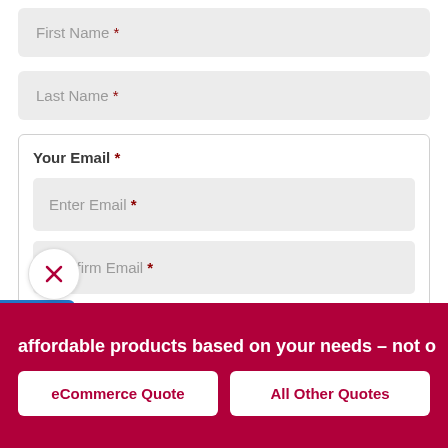First Name *
Last Name *
Your Email *
Enter Email *
Confirm Email *
Business Location *
affordable products based on your needs – not o
eCommerce Quote
All Other Quotes